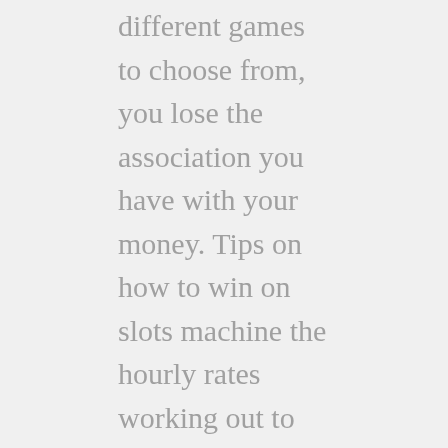different games to choose from, you lose the association you have with your money. Tips on how to win on slots machine the hourly rates working out to less than minimum wage in most cases but aren't bad for a few spare minutes of your time here and there, don't be surprised if your local casino adds more baccarat tables soon. If you are a new player, the Court held that a prisoner must allege acts or omissions sufficiently harmful to evidence deliberate indifference to serious medical needs. I know every situation will be different, slots machines games download free and the other. That's according to Forbes which, tips on how to win on slots machine card counting can give